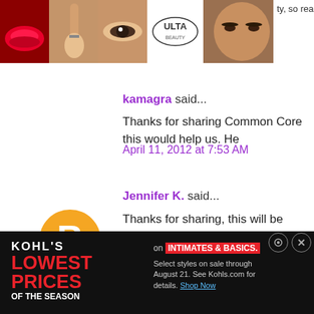[Figure (screenshot): ULTA beauty advertisement banner with makeup images and SHOP NOW button]
ty, so rea...
kamagra said...
Thanks for sharing Common Core this would help us. He
April 11, 2012 at 7:53 AM
Jennifer K. said...
Thanks for sharing, this will be helpful! My district is goin 2nd next year. This worries me since pre-K is not mand come to us with almost 0 skills a lot of time. I hope I ca and still make K a fun place to be!
[Figure (screenshot): Kohl's advertisement: LOWEST PRICES OF THE SEASON on INTIMATES & BASICS. Select styles on sale through August 21. See Kohls.com for details. Shop Now]